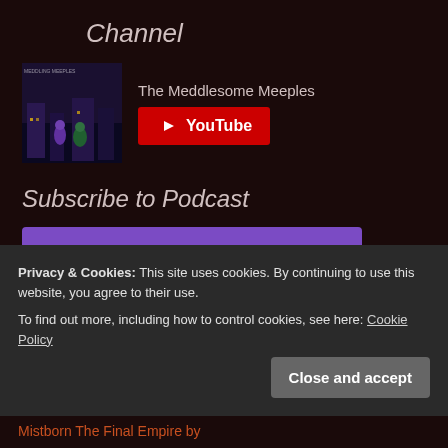Channel
The Meddlesome Meeples
[Figure (screenshot): YouTube subscribe button with red background and play icon]
Subscribe to Podcast
[Figure (screenshot): on iTunes purple subscribe button with podcast icon]
[Figure (screenshot): on Android green subscribe button with Android robot icon]
[Figure (screenshot): via RSS orange subscribe button with RSS icon]
Privacy & Cookies: This site uses cookies. By continuing to use this website, you agree to their use.
To find out more, including how to control cookies, see here: Cookie Policy
Close and accept
Mistborn The Final Empire by